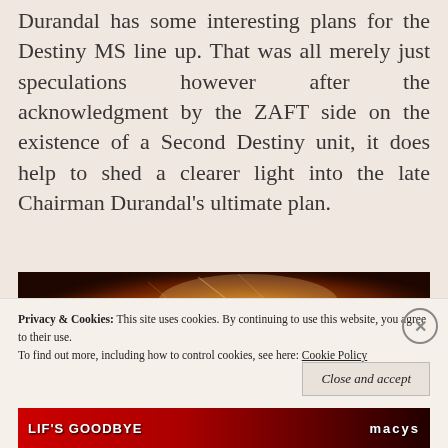Durandal has some interesting plans for the Destiny MS line up. That was all merely just speculations however after the acknowledgment by the ZAFT side on the existence of a Second Destiny unit, it does help to shed a clearer light into the late Chairman Durandal’s ultimate plan.
[Figure (photo): A sci-fi/anime scene showing a mecha or armored figure with fiery orange and gold energy effects and glowing light bursts against a dark background.]
Privacy & Cookies: This site uses cookies. By continuing to use this website, you agree to their use.
To find out more, including how to control cookies, see here: Cookie Policy
Close and accept